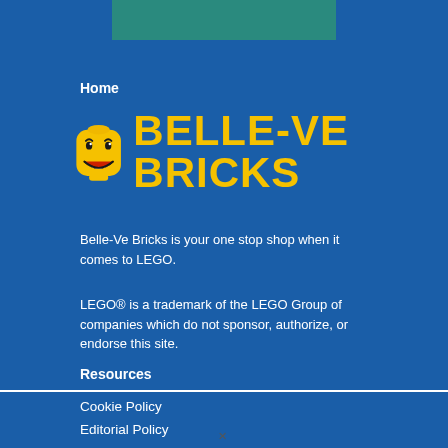Home
[Figure (logo): Belle-Ve Bricks logo with a yellow LEGO minifigure head and the text BELLE-VE BRICKS in bold yellow letters]
Belle-Ve Bricks is your one stop shop when it comes to LEGO.
LEGO® is a trademark of the LEGO Group of companies which do not sponsor, authorize, or endorse this site.
Resources
Cookie Policy
Editorial Policy
Designer Policy